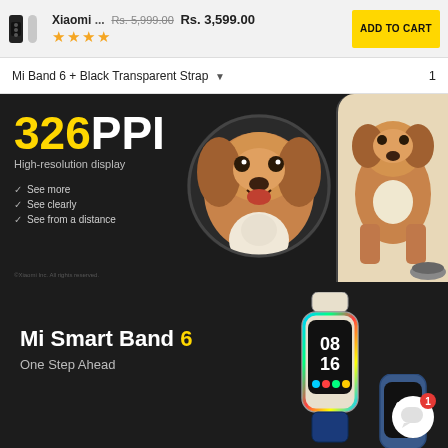Xiaomi ... Rs. 5,999.00 Rs. 3,599.00  ADD TO CART ★★★★
Mi Band 6 + Black Transparent Strap  ▼  1
[Figure (photo): Product banner showing '326PPI High-resolution display' with a golden retriever dog photo in a circle and on a device screen against a dark background. Bullet points: See more, See clearly, See from a distance.]
[Figure (photo): Product banner showing 'Mi Smart Band 6 - One Step Ahead' with the Mi Band 6 device displaying 08:16 time and a chat bubble with badge '1' in the bottom right.]